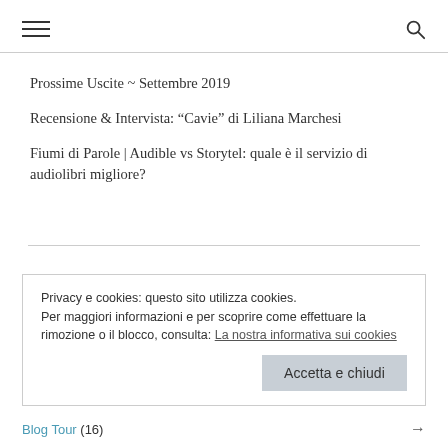[hamburger menu] [search icon]
Prossime Uscite ~ Settembre 2019
Recensione & Intervista: “Cavie” di Liliana Marchesi
Fiumi di Parole | Audible vs Storytel: quale è il servizio di audiolibri migliore?
Privacy e cookies: questo sito utilizza cookies.
Per maggiori informazioni e per scoprire come effettuare la rimozione o il blocco, consulta: La nostra informativa sui cookies
Accetta e chiudi
Blog Tour (16) →